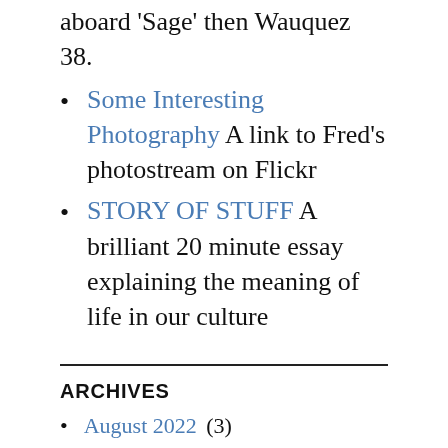aboard 'Sage' then Wauquez 38.
Some Interesting Photography A link to Fred's photostream on Flickr
STORY OF STUFF A brilliant 20 minute essay explaining the meaning of life in our culture
ARCHIVES
August 2022 (3)
July 2022 (?)